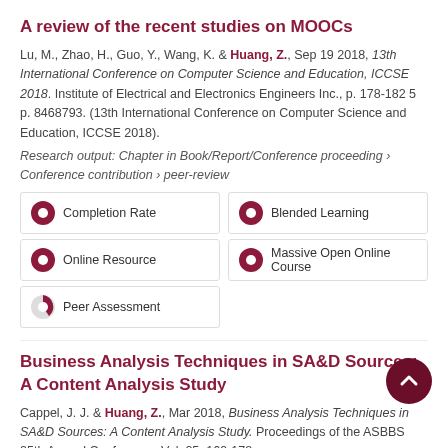A review of the recent studies on MOOCs
Lu, M., Zhao, H., Guo, Y., Wang, K. & Huang, Z., Sep 19 2018, 13th International Conference on Computer Science and Education, ICCSE 2018. Institute of Electrical and Electronics Engineers Inc., p. 178-182 5 p. 8468793. (13th International Conference on Computer Science and Education, ICCSE 2018).
Research output: Chapter in Book/Report/Conference proceeding › Conference contribution › peer-review
[Figure (infographic): Five keyword badges with full or partial pie icons: Completion Rate (100%), Blended Learning (100%), Online Resource (100%), Massive Open Online Course (100%), Peer Assessment (~25%)]
Business Analysis Techniques in SA&D Sources: A Content Analysis Study
Cappel, J. J. & Huang, Z., Mar 2018, Business Analysis Techniques in SA&D Sources: A Content Analysis Study. Proceedings of the ASBBS 25th Annual Conference, Vol. 25, 169-178